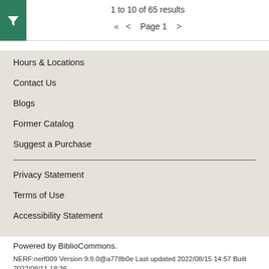1 to 10 of 65 results
« < Page 1 >
Hours & Locations
Contact Us
Blogs
Former Catalog
Suggest a Purchase
Privacy Statement
Terms of Use
Accessibility Statement
Powered by BiblioCommons.
NERF:nerf009 Version 9.9.0@a778b0e Last updated 2022/08/15 14:57 Built 2022/08/11 18:36